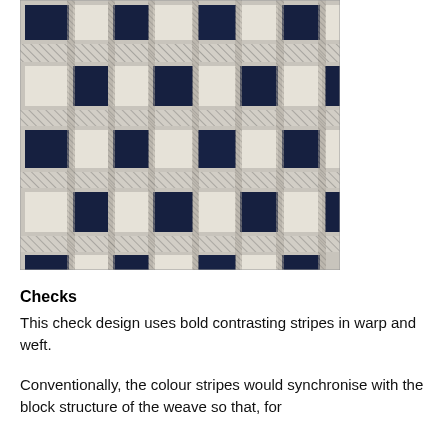[Figure (photo): Close-up photograph of a navy blue and white plaid/check fabric textile, showing bold contrasting squares formed by warp and weft threads in a gingham/buffalo check pattern.]
Checks
This check design uses bold contrasting stripes in warp and weft.
Conventionally, the colour stripes would synchronise with the block structure of the weave so that, for